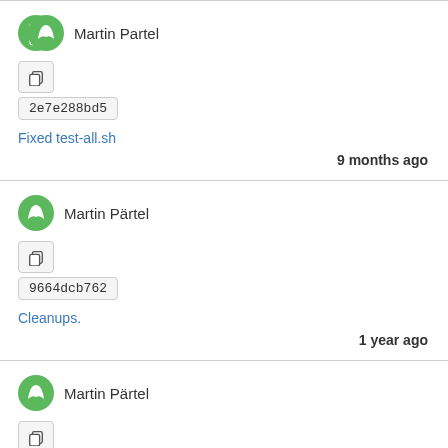Martin Partel
2e7e288bd5
Fixed test-all.sh
9 months ago
Martin Pärtel
9664dcb762
Cleanups.
1 year ago
Martin Pärtel
abafd17172
Released 1.15.1